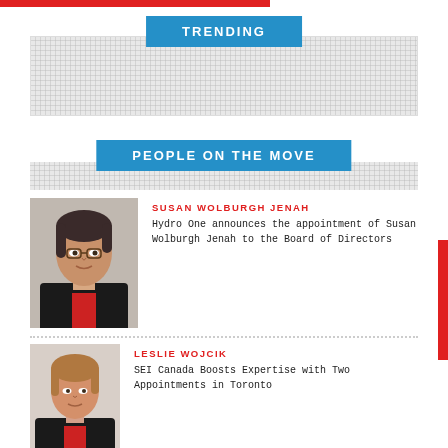TRENDING
PEOPLE ON THE MOVE
SUSAN WOLBURGH JENAH
Hydro One announces the appointment of Susan Wolburgh Jenah to the Board of Directors
[Figure (photo): Portrait photo of Susan Wolburgh Jenah]
LESLIE WOJCIK
SEI Canada Boosts Expertise with Two Appointments in Toronto
[Figure (photo): Portrait photo of Leslie Wojcik]